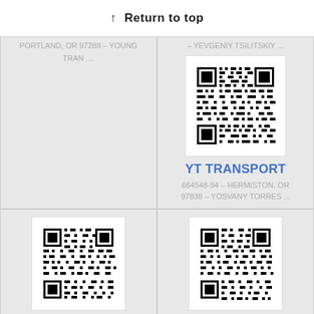↑ Return to top
PORTLAND, OR 97288 – YOUNG TRAN ....
– YEVGENIY TSILITSKIY ...
[Figure (other): QR code for YT TRANSPORT]
YT TRANSPORT
664548-94 – HERMISTON, OR 97838 – YOSVANY TORRES ...
[Figure (other): QR code for YTURRI ROSE LLP]
YTURRI ROSE LLP
ACTIVE – 550140-89 – ONTARIO,
[Figure (other): QR code for YTF NURSERY LLC]
YTF NURSERY LLC
ACTIVE – 096272-90 – CANBY, OR